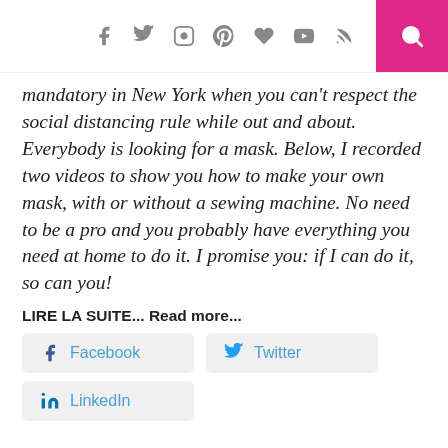[Figure (other): Top navigation bar with social media icons (Facebook, Twitter, Instagram, Pinterest, heart, YouTube, RSS) and a pink search button]
mandatory in New York when you can't respect the social distancing rule while out and about. Everybody is looking for a mask. Below, I recorded two videos to show you how to make your own mask, with or without a sewing machine. No need to be a pro and you probably have everything you need at home to do it. I promise you: if I can do it, so can you!
LIRE LA SUITE... Read more...
[Figure (other): Social sharing buttons: Facebook, Twitter, LinkedIn]